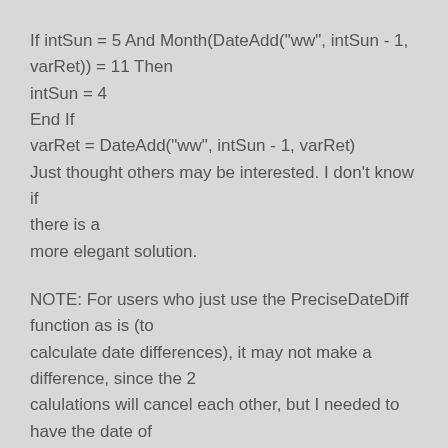If intSun = 5 And Month(DateAdd("ww", intSun - 1, varRet)) = 11 Then
intSun = 4
End If
varRet = DateAdd("ww", intSun - 1, varRet)
Just thought others may be interested. I don't know if there is a more elegant solution.
NOTE: For users who just use the PreciseDateDiff function as is (to calculate date differences), it may not make a difference, since the 2 calulations will cancel each other, but I needed to have the date of the change.